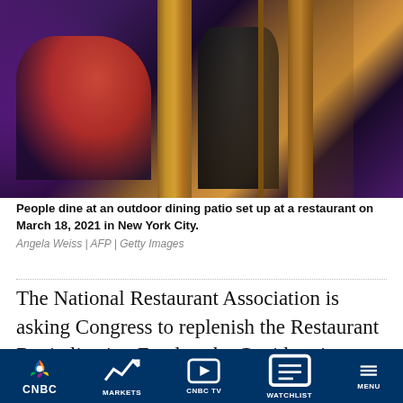[Figure (photo): People dining at an outdoor dining patio set up at a restaurant, with wooden dividers creating booth-like enclosures, purple ambient lighting, on March 18, 2021 in New York City.]
People dine at an outdoor dining patio set up at a restaurant on March 18, 2021 in New York City.
Angela Weiss | AFP | Getty Images
The National Restaurant Association is asking Congress to replenish the Restaurant Revitalization Fund as the Covid omicron variant hits operators' businesses.
CNBC  MARKETS  CNBC TV  WATCHLIST  MENU